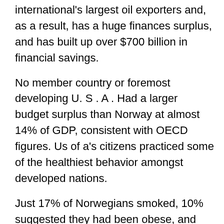international's largest oil exporters and, as a result, has a huge finances surplus, and has built up over $700 billion in financial savings.
No member country or foremost developing U. S . A . Had a larger budget surplus than Norway at almost 14% of GDP, consistent with OECD figures. Us of a's citizens practiced some of the healthiest behavior amongst developed nations.
Just 17% of Norwegians smoked, 10% suggested they had been obese, and alcohol consumption was additionally many of the OECD's lowest. At left, Norway's Isabelle Pedersen celebrates her victory within the girls' a hundred m hurdles final at the EU athletics u23 championships on July 13.
3. Switzerland